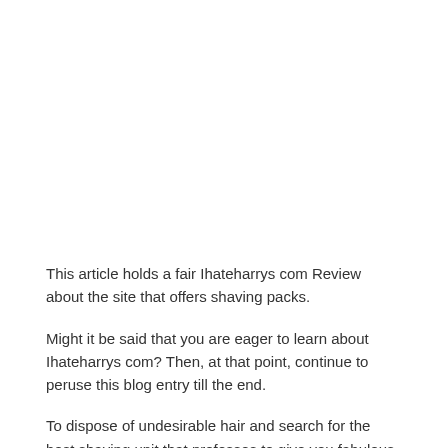This article holds a fair Ihateharrys com Review about the site that offers shaving packs.
Might it be said that you are eager to learn about Ihateharrys com? Then, at that point, continue to peruse this blog entry till the end.
To dispose of undesirable hair and search for the best shaving unit that professes to give you fabulous outcomes